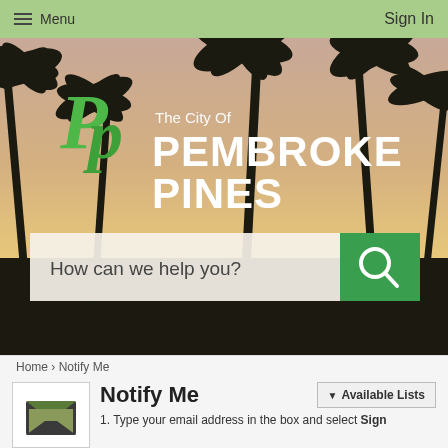Menu   Sign In
[Figure (screenshot): City of Pembroke Pines website hero section with palm tree sunset background, city logo (green PP letters), city name overlay 'The City Of PEMBROKE PINES', and a search bar reading 'How can we help you?' with a green search button]
Home > Notify Me
Notify Me
1. Type your email address in the box and select Sign
[Figure (illustration): Envelope/mail icon for Notify Me service]
▼ Available Lists